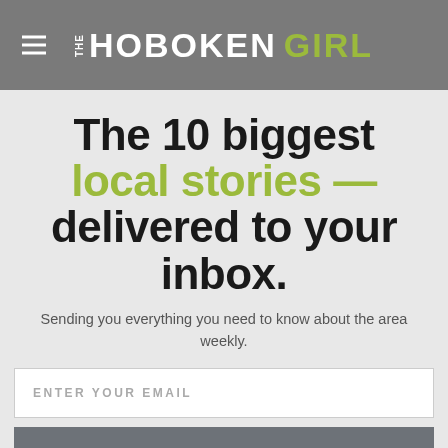THE HOBOKEN GIRL
The 10 biggest local stories — delivered to your inbox.
Sending you everything you need to know about the area weekly.
ENTER YOUR EMAIL
STAY IN THE KNOW
16,000 Lead Pipes Over the